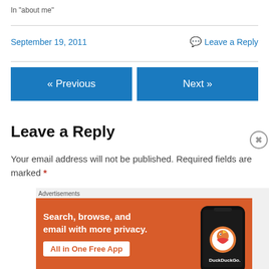In "about me"
September 19, 2011    💬 Leave a Reply
« Previous
Next »
Leave a Reply
Your email address will not be published. Required fields are marked *
[Figure (advertisement): DuckDuckGo advertisement banner: 'Search, browse, and email with more privacy. All in One Free App' with phone graphic and DuckDuckGo logo on orange background.]